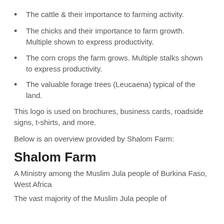The cattle & their importance to farming activity.
The chicks and their importance to farm growth. Multiple shown to express productivity.
The corn crops the farm grows. Multiple stalks shown to express productivity.
The valuable forage trees (Leucaena) typical of the land.
This logo is used on brochures, business cards, roadside signs, t-shirts, and more.
Below is an overview provided by Shalom Farm:
Shalom Farm
A Ministry among the Muslim Jula people of Burkina Faso, West Africa
The vast majority of the Muslim Jula people of